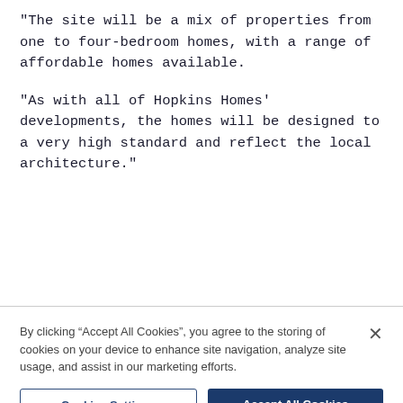"The site will be a mix of properties from one to four-bedroom homes, with a range of affordable homes available.
"As with all of Hopkins Homes' developments, the homes will be designed to a very high standard and reflect the local architecture."
By clicking “Accept All Cookies”, you agree to the storing of cookies on your device to enhance site navigation, analyze site usage, and assist in our marketing efforts.